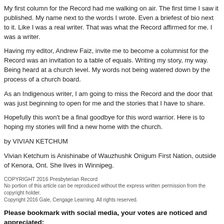My first column for the Record had me walking on air. The first time I saw it published. My name next to the words I wrote. Even a briefest of bio next to it. Like I was a real writer. That was what the Record affirmed for me. I was a writer.
Having my editor, Andrew Faiz, invite me to become a columnist for the Record was an invitation to a table of equals. Writing my story, my way. Being heard at a church level. My words not being watered down by the process of a church board.
As an Indigenous writer, I am going to miss the Record and the door that was just beginning to open for me and the stories that I have to share.
Hopefully this won't be a final goodbye for this word warrior. Here is to hoping my stories will find a new home with the church.
by VIVIAN KETCHUM
Vivian Ketchum is Anishinabe of Wauzhushk Onigum First Nation, outside of Kenora, Ont. She lives in Winnipeg.
COPYRIGHT 2016 Presbyterian Record
No portion of this article can be reproduced without the express written permission from the copyright holder.
Copyright 2016 Gale, Cengage Learning. All rights reserved.
Please bookmark with social media, your votes are noticed and appreciated: